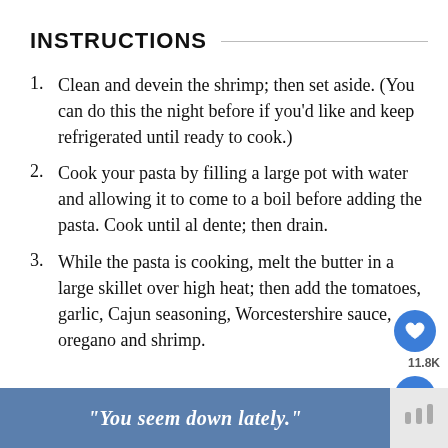INSTRUCTIONS
Clean and devein the shrimp; then set aside. (You can do this the night before if you'd like and keep refrigerated until ready to cook.)
Cook your pasta by filling a large pot with water and allowing it to come to a boil before adding the pasta. Cook until al dente; then drain.
While the pasta is cooking, melt the butter in a large skillet over high heat; then add the tomatoes, garlic, Cajun seasoning, Worcestershire sauce, oregano and shrimp.
Cook for 2-3 minutes until the shrimp is pink
"You seem down lately."